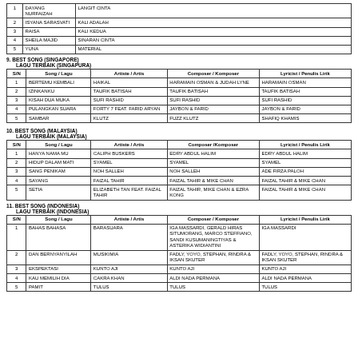| S/N | Song / Lagu | Artiste / Artis | Composer / Komposer | Lyricist / Penulis Lirik |
| --- | --- | --- | --- | --- |
| 1 | DAYANG NURFAIZAH | LANGIT CINTA |  |  |
| 2 | ISYANA SARASVATI | KALI ADALAH |  |  |
| 3 | RAISA | KALI KEDUA |  |  |
| 4 | SHEILA MAJID | SINARAN CINTA |  |  |
| 5 | YUNA | MATERIAL |  |  |
9. BEST SONG (SINGAPORE)
   LAGU TERBAIK (SINGAPURA)
| S/N | Song / Lagu | Artiste / Artis | Composer / Komposer | Lyricist / Penulis Lirik |
| --- | --- | --- | --- | --- |
| 1 | BERTEMU KEMBALI | HAIKAL | HARAMAIN OSMAN & JUDAH LYNE | HARAMAIN OSMAN |
| 2 | IZINKANKU | TAUFIK BATISAH | TAUFIK BATISAH | TAUFIK BATISAH |
| 3 | KISAH DUA MUKA | SUFI RASHID | SUFI RASHID | SUFI RASHID |
| 4 | PULANGKAN SUARA | FORTY 7 FEAT. FARID ARYAN | JAYRON & FARID | JAYRON & FARID |
| 5 | SAMBAR | KLUTZ | FUZZ KLUTZ | SHAFIQ KHAMIS |
10. BEST SONG (MALAYSIA)
    LAGU TERBAIK (MALAYSIA)
| S/N | Song / Lagu | Artiste / Artis | Composer /Komposer | Lyricist / Penulis Lirik |
| --- | --- | --- | --- | --- |
| 1 | HANYA NAMA MU | CALIPH BUSKERS | EDRY ABDUL HALIM | EDRY ABDUL HALIM |
| 2 | HIDUP DALAM MATI | SYAMEL | SYAMEL | SYAMEL |
| 3 | SANG PENIKAM | NOH SALLEH | NOH SALLEH | ADE FIRZA PALOH |
| 4 | SAYANG | FAIZAL TAHIR | FAIZAL TAHIR & MIKE CHAN | FAIZAL TAHIR & MIKE CHAN |
| 5 | SETIA | ELIZABETH TAN FEAT. FAIZAL TAHIR | FAIZAL TAHIR, MIKE CHAN & EZRA KONG | FAIZAL TAHIR & MIKE CHAN |
11. BEST SONG (INDONESIA)
    LAGU TERBAIK (INDONESIA)
| S/N | Song / Lagu | Artiste / Artis | Composer / Komposer | Lyricist / Penulis Lirik |
| --- | --- | --- | --- | --- |
| 1 | BAHAS BAHASA | BARASUARA | IGA MASSARDI, GERALD HIRAS SITUMORANG, MARCO STEFFIANO, SANDI KUSUMANINGTIYAS & ASTERIKA WIDIANTINI | IGA MASSARDI |
| 2 | DAN BERNYANYILAH | MUSIKIMIA | FADLY, YOYO, STEPHAN, RINDRA & IKSAN SKUTER | FADLY, YOYO, STEPHAN, RINDRA & IKSAN SKUTER |
| 3 | EKSPEKTASI | KUNTO AJI | KUNTO AJI | KUNTO AJI |
| 4 | KAU MEMILIH DIA | CAKRA KHAN | ALDI NADA PERMANA | ALDI NADA PERMANA |
| 5 | PAMIT | TULUS | TULUS | TULUS |